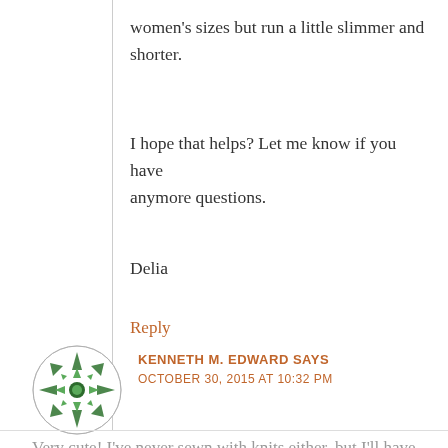women's sizes but run a little slimmer and shorter.
I hope that helps? Let me know if you have anymore questions.
Delia
Reply
KENNETH M. EDWARD SAYS
OCTOBER 30, 2015 AT 10:32 PM
Very cute! I've never sewn with knits either, but I'll have